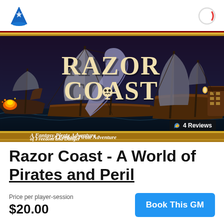[Figure (logo): Blue wizard hat icon (app logo)]
[Figure (logo): Red and white circular icon (profile/user icon)]
[Figure (illustration): Razor Coast fantasy pirate adventure banner image showing two tall ships in a stormy sea with the title 'RAZOR COAST' in large decorative letters and subtitle 'A Fantasy Pirate Adventure of Freedom and Danger']
4 Reviews
Razor Coast - A World of Pirates and Peril
Price per player-session
$20.00
Book This GM